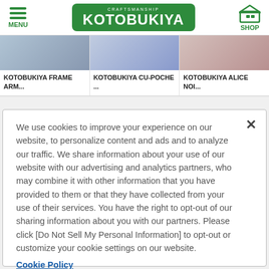MENU | KOTOBUKIYA CRAFTSMANSHIP | SHOP
[Figure (photo): Three product images: Kotobukiya Frame Arm, Kotobukiya Cu-Poche, Kotobukiya Alice Noi]
KOTOBUKIYA FRAME ARM...
KOTOBUKIYA CU-POCHE ...
KOTOBUKIYA ALICE NOI...
We use cookies to improve your experience on our website, to personalize content and ads and to analyze our traffic. We share information about your use of our website with our advertising and analytics partners, who may combine it with other information that you have provided to them or that they have collected from your use of their services. You have the right to opt-out of our sharing information about you with our partners. Please click [Do Not Sell My Personal Information] to opt-out or customize your cookie settings on our website.
Cookie Policy
Do Not Sell My Personal Information
Accept All Cookies